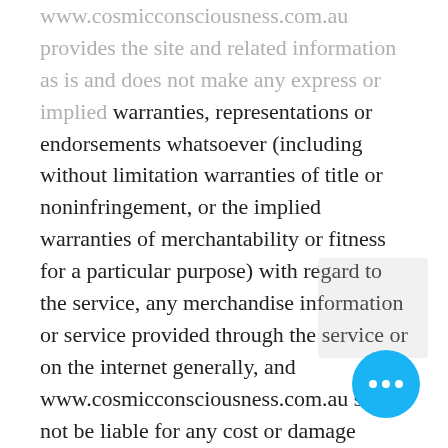www.cosmicconsciousness.com.au provides the site and related information as is and does not make any express or implied warranties, representations or endorsements whatsoever (including without limitation warranties of title or noninfringement, or the implied warranties of merchantability or fitness for a particular purpose) with regard to the service, any merchandise information or service provided through the service or on the internet generally, and www.cosmicconsciousness.com.au shall not be liable for any cost or damage arising either directly or indirectly from any such transaction.  It is solely your responsibility to evaluate the accuracy, completeness and usefulness of all opinions, advice, services merchandise and other information provided through the service or on the internet generally. Www.cosmicconsciousness.com.au